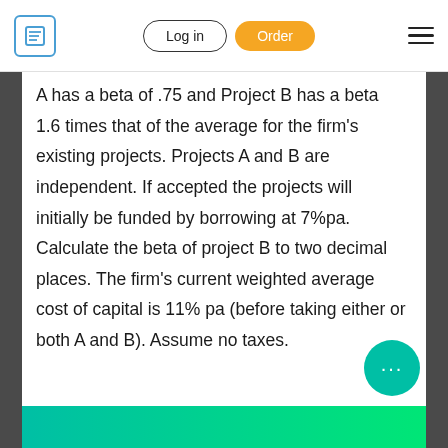Log in | Order
A has a beta of .75 and Project B has a beta 1.6 times that of the average for the firm's existing projects. Projects A and B are independent. If accepted the projects will initially be funded by borrowing at 7%pa. Calculate the beta of project B to two decimal places. The firm's current weighted average cost of capital is 11% pa (before taking either or both A and B). Assume no taxes.